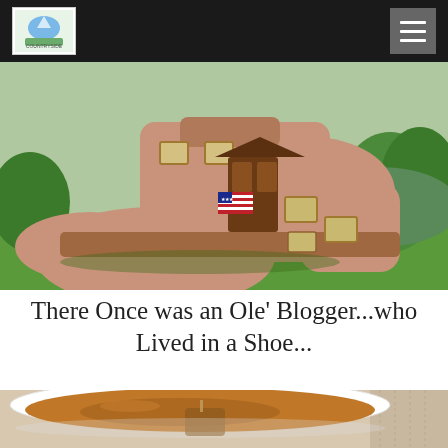Blog website header with logo and hamburger menu
[Figure (photo): A house built in the shape of a large boot/shoe, pink/terracotta colored, with windows, a wooden front door with American flag, set on a green lawn with trees in the background]
There Once was an Ole' Blogger...who Lived in a Shoe...
[Figure (photo): A white bowl containing amber-colored broth or tea with a tea bag, viewed from above, on a patterned surface]